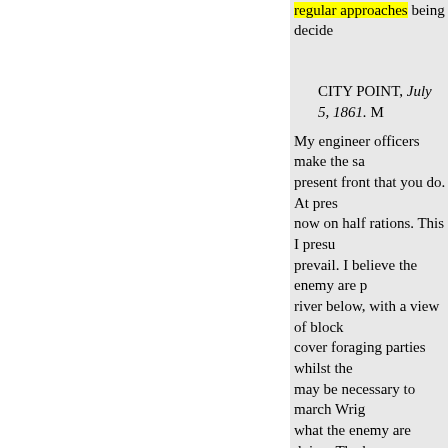regular approaches being decided
CITY POINT, July 5, 1861. M
My engineer officers make the same report of the present front that you do. At present the troops are now on half rations. This I presume will cause want to prevail. I believe the enemy are placing batteries on the river below, with a view of blocking navigation, and to cover foraging parties whilst they gather supplies. It may be necessary to march Wright down to see about what the enemy are doing. The best plan would be on Warren's front and advance by gradual approaches. In order we will make another raid, the cavalry expedition in North Carolina started out to cut communication as the enemy were re-enforcing.
U.S. GRANT.
Lieutenant-General.
HEADQUARTERS ARMY O
July 5, 1864–1 p. m. Lieutenan
GENERAL. The following i